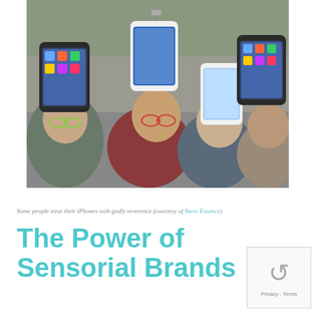[Figure (photo): Four people wearing large iPhone-shaped hats on their heads, smiling outdoors in an urban setting with trees in the background. The iPhones displayed on their heads show app icons.]
Some people treat their iPhones with godly reverence (courtesy of Steve Essence)
The Power of Sensorial Brands